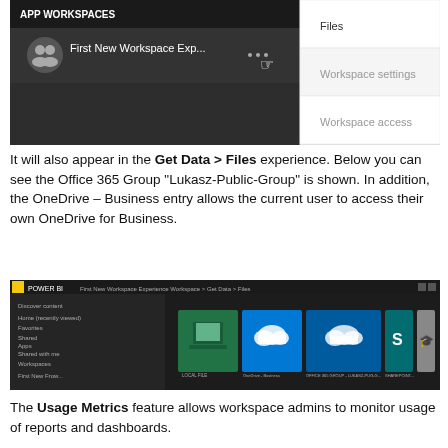[Figure (screenshot): Screenshot of Power BI App Workspaces panel showing 'First New Workspace Exp...' with a dropdown menu containing Files, Workspace settings, and Workspace access options.]
It will also appear in the Get Data > Files experience. Below you can see the Office 365 Group “Lukasz-Public-Group” is shown. In addition, the OneDrive – Business entry allows the current user to access their own OneDrive for Business.
[Figure (screenshot): Screenshot of Power BI Get Data > Files screen showing file source tiles including local file, OneDrive Business, OneDrive Personal, SharePoint, and another option. Navigation panel visible on the left.]
The Usage Metrics feature allows workspace admins to monitor usage of reports and dashboards.